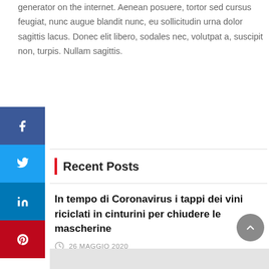generator on the internet. Aenean posuere, tortor sed cursus feugiat, nunc augue blandit nunc, eu sollicitudin urna dolor sagittis lacus. Donec elit libero, sodales nec, volutpat a, suscipit non, turpis. Nullam sagittis.
[Figure (other): Social media sharing sidebar with Facebook (blue), Twitter (light blue), LinkedIn (dark blue), and Pinterest (red) buttons]
Recent Posts
In tempo di Coronavirus i tappi dei vini riciclati in cinturini per chiudere le mascherine
26 MAGGIO 2020